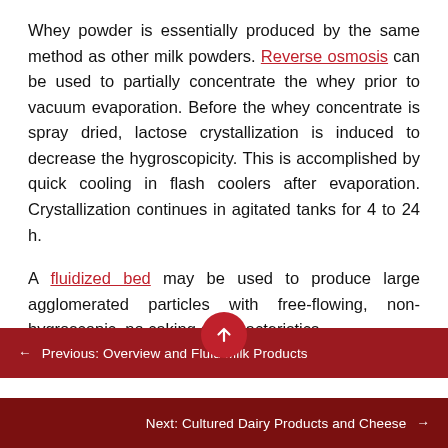Whey powder is essentially produced by the same method as other milk powders. Reverse osmosis can be used to partially concentrate the whey prior to vacuum evaporation. Before the whey concentrate is spray dried, lactose crystallization is induced to decrease the hygroscopicity. This is accomplished by quick cooling in flash coolers after evaporation. Crystallization continues in agitated tanks for 4 to 24 h.
A fluidized bed may be used to produce large agglomerated particles with free-flowing, non-hygroscopic, no caking characteristics.
← Previous: Overview and Fluid Milk Products
Next: Cultured Dairy Products and Cheese →